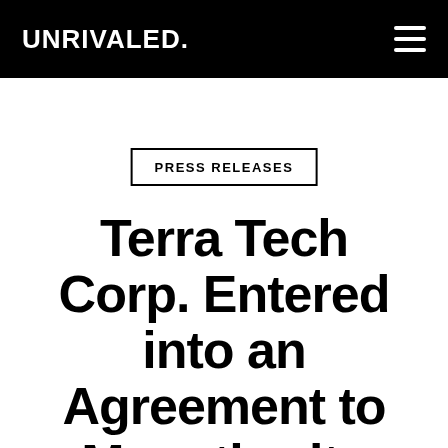UNRIVALED.
PRESS RELEASES
Terra Tech Corp. Entered into an Agreement to Monetize its Investment in Unrivaled Brands